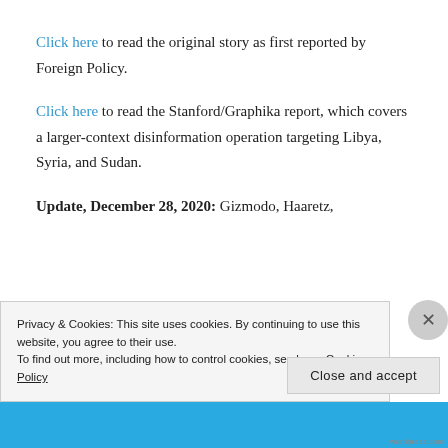Click here to read the original story as first reported by Foreign Policy.
Click here to read the Stanford/Graphika report, which covers a larger-context disinformation operation targeting Libya, Syria, and Sudan.
Update, December 28, 2020: Gizmodo, Haaretz, and Inside Hook have also picked-up the story
Privacy & Cookies: This site uses cookies. By continuing to use this website, you agree to their use.
To find out more, including how to control cookies, see here: Cookie Policy
Close and accept